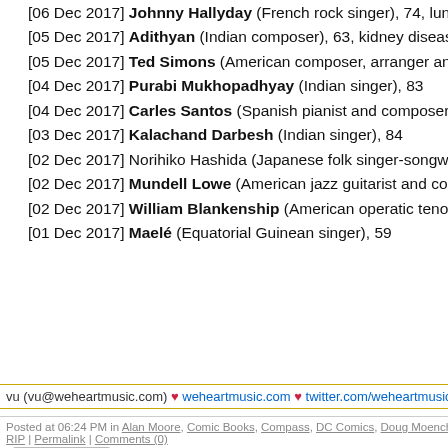[06 Dec 2017] Johnny Hallyday (French rock singer), 74, lung ca…
[05 Dec 2017] Adithyan (Indian composer), 63, kidney disease
[05 Dec 2017] Ted Simons (American composer, arranger and mu…
[04 Dec 2017] Purabi Mukhopadhyay (Indian singer), 83
[04 Dec 2017] Carles Santos (Spanish pianist and composer), 77…
[03 Dec 2017] Kalachand Darbesh (Indian singer), 84
[02 Dec 2017] Norihiko Hashida (Japanese folk singer-songwriter…
[02 Dec 2017] Mundell Lowe (American jazz guitarist and compos…
[02 Dec 2017] William Blankenship (American operatic tenor), 89…
[01 Dec 2017] Maelé (Equatorial Guinean singer), 59
vu (vu@weheartmusic.com) ♥ weheartmusic.com ♥ twitter.com/weheartmusic
Posted at 06:24 PM in Alan Moore, Comic Books, Compass, DC Comics, Doug Moench, Fleetwa… RIP | Permalink | Comments (0)
Reblog (0)